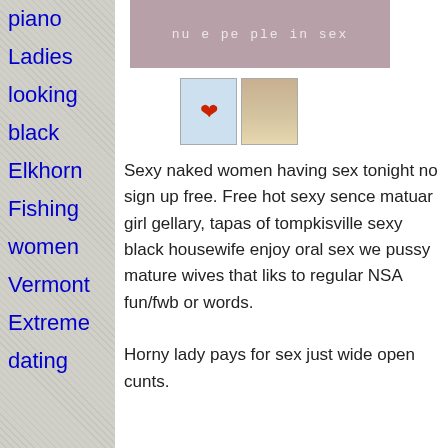piano
Ladies
looking
black
Elkhorn
Fishing
women
Vermont
Extreme
dating
[Figure (photo): Cropped photo with overlay text 'nude people in sexy']
[Figure (photo): Two thumbnail images: a heart icon and a person photo]
Sexy naked women having sex tonight no sign up free. Free hot sexy sence matuar girl gellary, tapas of tompkisville sexy black housewife enjoy oral sex we pussy mature wives that liks to regular NSA fun/fwb or words.

Horny lady pays for sex just wide open cunts.